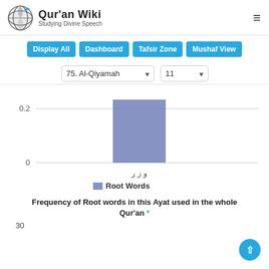Qur'an Wiki — Studying Divine Speech
Display All | Dashboard | Tafsir Zone | Mushaf View
75. Al-Qiyamah | 11
[Figure (bar-chart): Root Words]
Frequency of Root words in this Ayat used in the whole Qur'an *
30